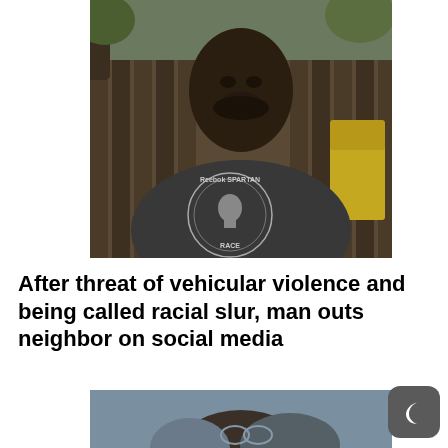[Figure (photo): A man wearing a dark grey Reebok Spartan Race t-shirt sitting outdoors with a wooden fence and trees in the background.]
After threat of vehicular violence and being called racial slur, man outs neighbor on social media
[Figure (photo): Partial photo of a person with dark hair, cropped at the bottom of the page.]